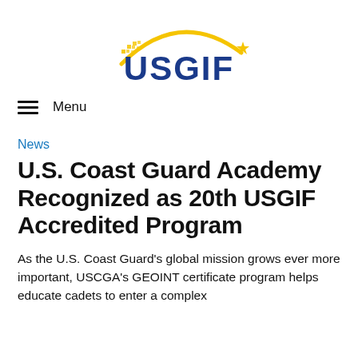[Figure (logo): USGIF logo with golden arc and star above blue bold text 'USGIF']
Menu
News
U.S. Coast Guard Academy Recognized as 20th USGIF Accredited Program
As the U.S. Coast Guard's global mission grows ever more important, USCGA's GEOINT certificate program helps educate cadets to enter a complex